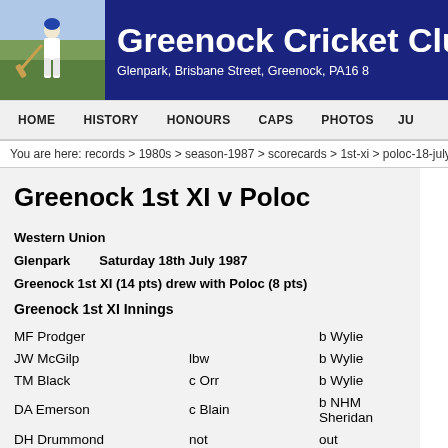Greenock Cricket Club — Glenpark, Brisbane Street, Greenock, PA16 8...
HOME  HISTORY  HONOURS  CAPS  PHOTOS  JU...
You are here: records > 1980s > season-1987 > scorecards > 1st-xi > poloc-18-july...
Greenock 1st XI v Poloc
Western Union
Glenpark      Saturday 18th July 1987
Greenock 1st XI (14 pts) drew with Poloc (8 pts)
Greenock 1st XI Innings
| Batsman | Dismissal | Bowler |
| --- | --- | --- |
| MF Prodger |  | b Wylie |
| JW McGilp | lbw | b Wylie |
| TM Black | c Orr | b Wylie |
| DA Emerson | c Blain | b NHM Sheridan |
| DH Drummond | not | out |
| DG Duthie | not | out |
| PE Robertson |  |  |